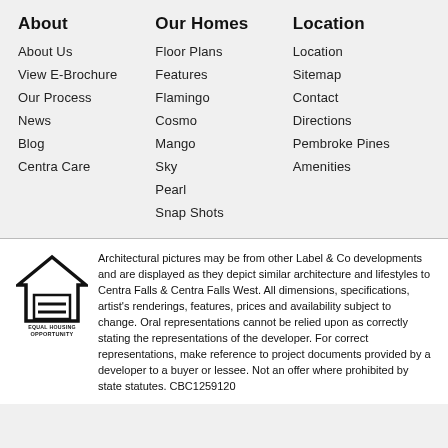About
About Us
View E-Brochure
Our Process
News
Blog
Centra Care
Our Homes
Floor Plans
Features
Flamingo
Cosmo
Mango
Sky
Pearl
Snap Shots
Location
Location
Sitemap
Contact
Directions
Pembroke Pines
Amenities
[Figure (logo): Equal Housing Opportunity logo — house outline with an equals sign inside]
Architectural pictures may be from other Label & Co developments and are displayed as they depict similar architecture and lifestyles to Centra Falls & Centra Falls West. All dimensions, specifications, artist's renderings, features, prices and availability subject to change. Oral representations cannot be relied upon as correctly stating the representations of the developer. For correct representations, make reference to project documents provided by a developer to a buyer or lessee. Not an offer where prohibited by state statutes. CBC1259120